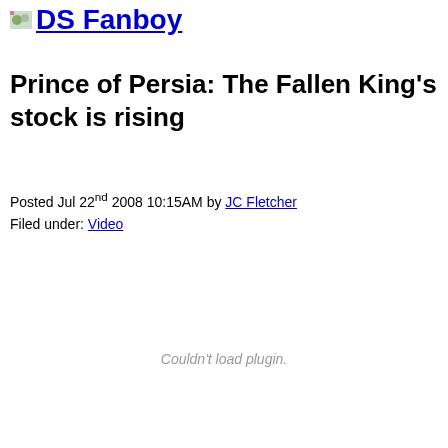DS Fanboy
Prince of Persia: The Fallen King's stock is rising
Posted Jul 22nd 2008 10:15AM by JC Fletcher
Filed under: Video
[Figure (other): Couldn't load plugin. Video embed placeholder area.]